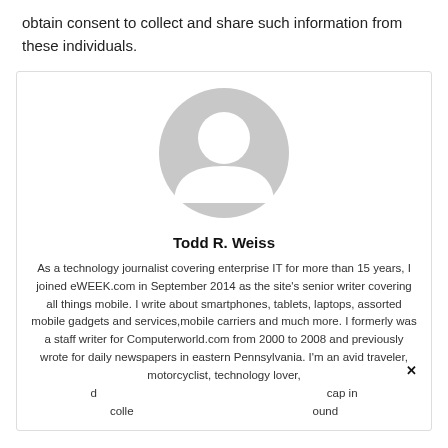obtain consent to collect and share such information from these individuals.
[Figure (illustration): Generic grey user avatar silhouette icon — circular head shape with rounded shoulders on white background]
Todd R. Weiss
As a technology journalist covering enterprise IT for more than 15 years, I joined eWEEK.com in September 2014 as the site's senior writer covering all things mobile. I write about smartphones, tablets, laptops, assorted mobile gadgets and services,mobile carriers and much more. I formerly was a staff writer for Computerworld.com from 2000 to 2008 and previously wrote for daily newspapers in eastern Pennsylvania. I'm an avid traveler, motorcyclist, technology lover, d... cap in colle... ound